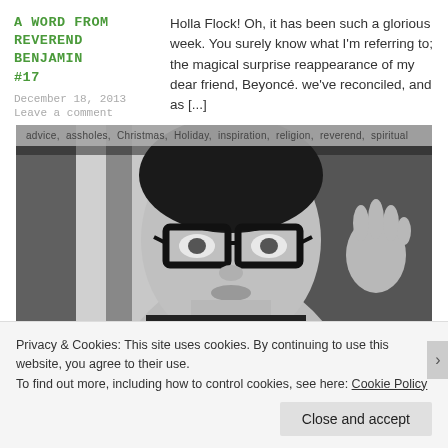A WORD FROM REVEREND BENJAMIN #17
December 18, 2013
Leave a comment
Holla Flock! Oh, it has been such a glorious week. You surely know what I'm referring to; the magical surprise reappearance of my dear friend, Beyoncé. we've reconciled, and as [...]
[Figure (photo): Black and white photo of a young man wearing thick-rimmed glasses, looking upward. Tags overlay at top: advice, assholes, Christmas, Holiday, inspiration, religion, reverend, spiritual]
A WORD FROM REVEREND BENJAMIN
Holla Flock! Sometimes I feel as if I am a guardian for the holidays — a protectorate of the most basic
Privacy & Cookies: This site uses cookies. By continuing to use this website, you agree to their use.
To find out more, including how to control cookies, see here: Cookie Policy
Close and accept